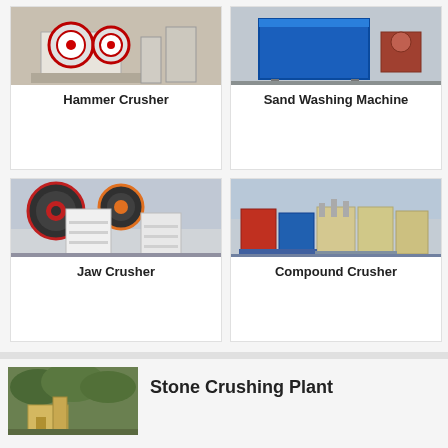[Figure (photo): Hammer Crusher industrial machine, white/cream colored, outdoor setting]
Hammer Crusher
[Figure (photo): Sand Washing Machine, large blue metal box/container in industrial yard]
Sand Washing Machine
[Figure (photo): Jaw Crusher, white industrial crusher with large red/black flywheel, multiple units outdoors]
Jaw Crusher
[Figure (photo): Compound Crusher, multiple colorful (red, blue, yellow/cream) crusher units in outdoor factory setting]
Compound Crusher
[Figure (photo): Stone Crushing Plant, outdoor installation with machinery and trees in background]
Stone Crushing Plant
Leave Message
Chat Online